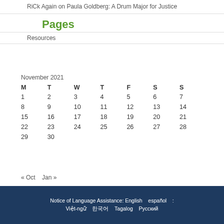RiCk Again on Paula Goldberg: A Drum Major for Justice
Pages
Resources
| M | T | W | T | F | S | S |
| --- | --- | --- | --- | --- | --- | --- |
| 1 | 2 | 3 | 4 | 5 | 6 | 7 |
| 8 | 9 | 10 | 11 | 12 | 13 | 14 |
| 15 | 16 | 17 | 18 | 19 | 20 | 21 |
| 22 | 23 | 24 | 25 | 26 | 27 | 28 |
| 29 | 30 |  |  |  |  |  |
« Oct   Jan »
Notice of Language Assistance: English   español   :   Việt-ngữ   한국어   Tagalog   Русский